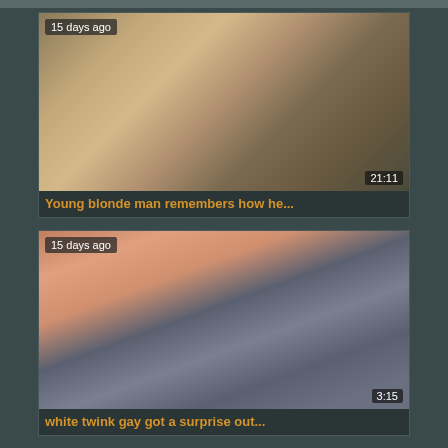[Figure (screenshot): Video thumbnail showing two young men on a bed, one blonde, bedroom setting with lamp. Timestamp '15 days ago' top-left, duration '21:11' bottom-right.]
Young blonde man remembers how he...
[Figure (screenshot): Video thumbnail close-up adult content image. Timestamp '15 days ago' top-left, duration '3:15' bottom-right.]
white twink gay got a surprise out...